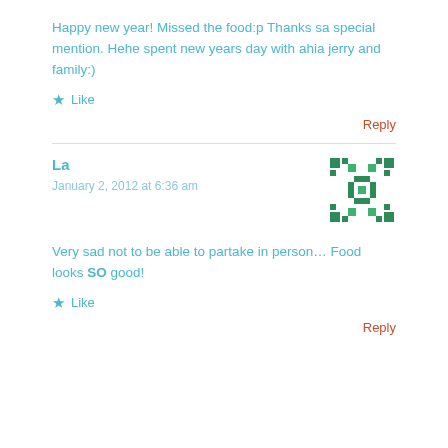Happy new year! Missed the food:p Thanks sa special mention. Hehe spent new years day with ahia jerry and family:)
★ Like
Reply
La
January 2, 2012 at 6:36 am
[Figure (illustration): Green decorative pixel/mosaic pattern avatar image]
Very sad not to be able to partake in person… Food looks SO good!
★ Like
Reply